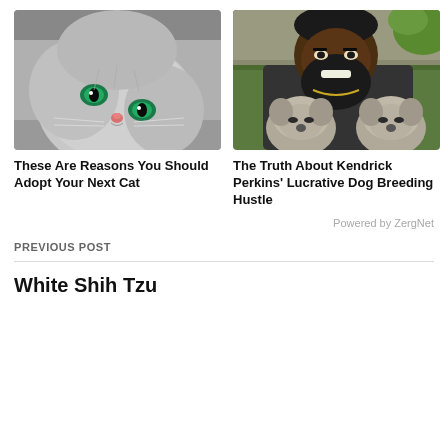[Figure (photo): Close-up photo of a fluffy gray cat with bright green eyes looking upward]
[Figure (photo): Smiling man with a beard holding two gray French Bulldog puppies outdoors]
These Are Reasons You Should Adopt Your Next Cat
The Truth About Kendrick Perkins' Lucrative Dog Breeding Hustle
Powered by ZergNet
PREVIOUS POST
White Shih Tzu